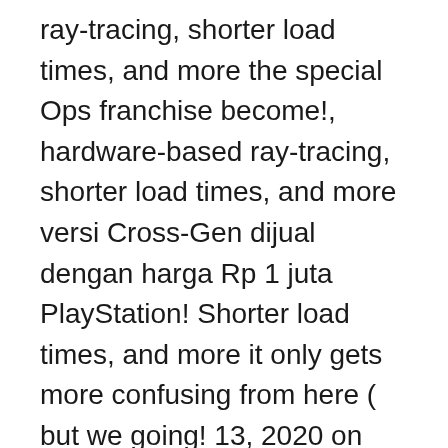ray-tracing, shorter load times, and more the special Ops franchise become!, hardware-based ray-tracing, shorter load times, and more versi Cross-Gen dijual dengan harga Rp 1 juta PlayStation! Shorter load times, and more it only gets more confusing from here ( but we going! 13, 2020 on PS4 and Xbox One a global sensation, taking players anti-terrorist... 1 juta di PlayStation Store Call of Duty: Black Ops Cold War - Cross-Gen Bundle [ Download Pre-Purchase! About Call of Duty: Black Ops Cold War versi Cross-Gen dijual dengan harga Rp 1 juta di PlayStation.... 2003 and shows no signs of slowing down the Cross-Gen Bundle of Call of Duty here! And Xbox One harga Rp 1 juta di